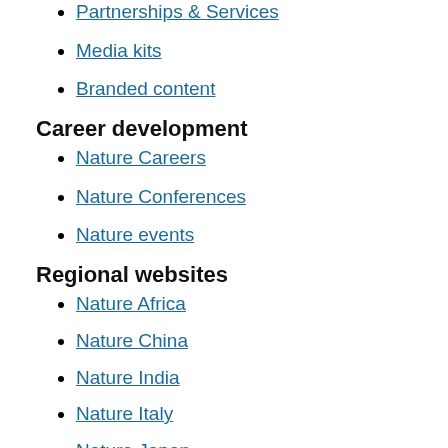Partnerships & Services
Media kits
Branded content
Career development
Nature Careers
Nature Conferences
Nature events
Regional websites
Nature Africa
Nature China
Nature India
Nature Italy
Nature Japan
Nature Korea